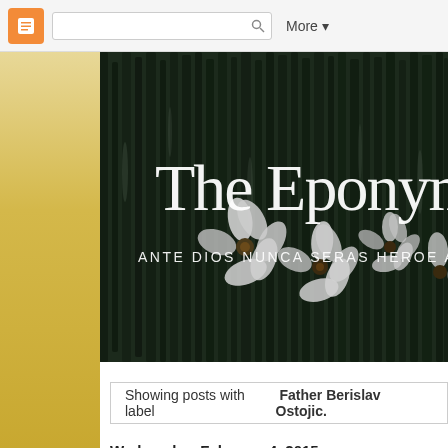Blogger navbar with logo, search box, and More button
[Figure (screenshot): Blog header hero image: dark monochrome photo of flowers/plants with blog title 'The Eponymo' and subtitle 'ANTE DIOS NUNCA SERAS HEROE ANONIMO' overlaid in white text]
Showing posts with label Father Berislav Ostojic.
Wednesday, February 4, 2015